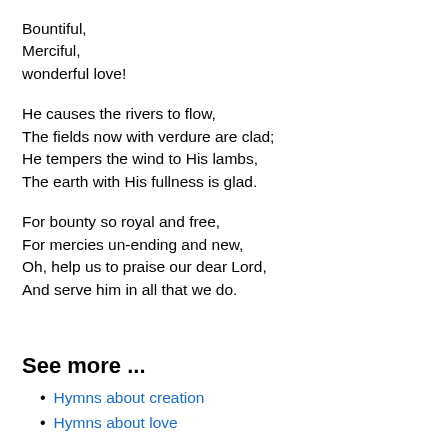Bountiful,
Merciful,
wonderful love!
He causes the rivers to flow,
The fields now with verdure are clad;
He tempers the wind to His lambs,
The earth with His fullness is glad.
For bounty so royal and free,
For mercies un-ending and new,
Oh, help us to praise our dear Lord,
And serve him in all that we do.
See more ...
Hymns about creation
Hymns about love